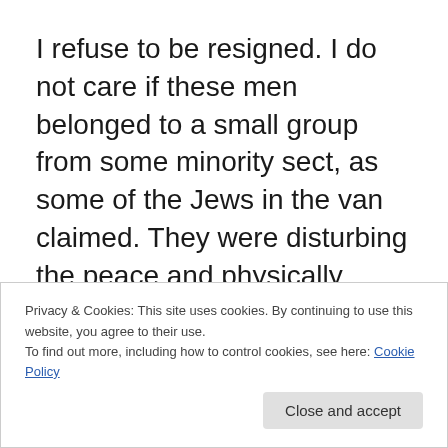I refuse to be resigned. I do not care if these men belonged to a small group from some minority sect, as some of the Jews in the van claimed. They were disturbing the peace and physically intimidating. Did they have a permit to protest? Do they have a weekly permit to protest? If not, why doesn't the Jerusalem police force tell them to go home and copulate with their wives, a mitzvah on Shabbes, or study, rather than degrade Torah
Privacy & Cookies: This site uses cookies. By continuing to use this website, you agree to their use.
To find out more, including how to control cookies, see here: Cookie Policy